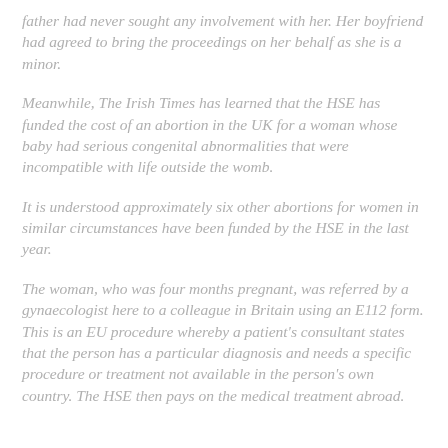father had never sought any involvement with her. Her boyfriend had agreed to bring the proceedings on her behalf as she is a minor.
Meanwhile, The Irish Times has learned that the HSE has funded the cost of an abortion in the UK for a woman whose baby had serious congenital abnormalities that were incompatible with life outside the womb.
It is understood approximately six other abortions for women in similar circumstances have been funded by the HSE in the last year.
The woman, who was four months pregnant, was referred by a gynaecologist here to a colleague in Britain using an E112 form. This is an EU procedure whereby a patient's consultant states that the person has a particular diagnosis and needs a specific procedure or treatment not available in the person's own country. The HSE then pays on the medical treatment abroad.